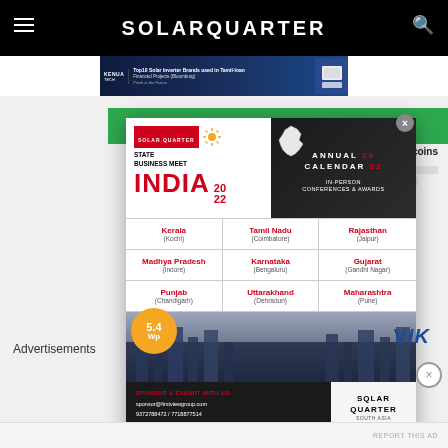SOLARQUARTER
[Figure (screenshot): Banner advertisement for KENUA TECH - Top10 Solar Inverter Brands used in Tamil Nadu Financed Projects]
[Figure (infographic): Solar Quarter State Business Meet India 2022 advertisement showing Annual Calendar 2022 in-person conferences & awards. States listed: Kerala (Kochi), Tamil Nadu (Coimbatore), Rajasthan (Jaipur), Madhya Pradesh (Indore), Karnataka (Bengaluru), Gujarat (Gandhi Nagar), Punjab (Chandigarh), Uttarakhand (Dehradun), Maharashtra (Pune). Sponsor & exhibit contact: sponsor@firstviewgroup.com, 9372788472 / 7718877514. Solar Quarter South Asia logo.]
Advertisements
Advertisements
REPORT THIS AD